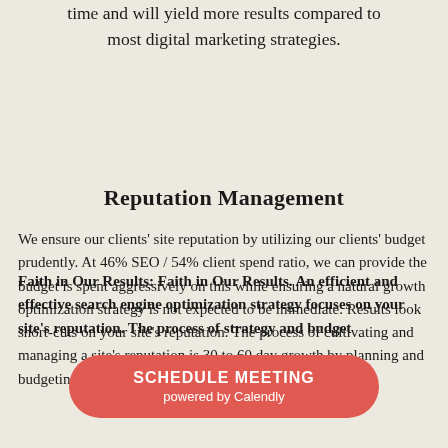time and will yield more results compared to most digital marketing strategies.
Reputation Management
We ensure our clients' site reputation by utilizing our clients' budget prudently. At 46% SEO / 54% client spend ratio, we can provide the budget is spent aggressively on this while ensuring a natural growth optimization strategy is not expected to be immediate. Results look short-cuts on your site's reputation. The process of cultivating and managing a site's reputation is 30 to 60 day growth by planning and budgeting a our
Faith in Our Results: Faith in Our Results. An efficient and effective search engine optimization strategy focuses on your site's reputation. The process of strategy and budget
SCHEDULE MEETING powered by Calendly